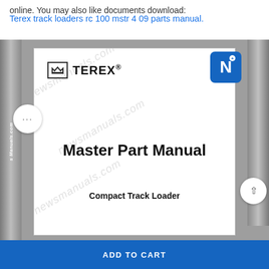online. You may also like documents download:
Terex track loaders rc 100 mstr 4 09 parts manual.
[Figure (photo): Screenshot of a document preview viewer showing the cover of a Terex Master Part Manual for Compact Track Loader, with Terex logo, N badge icon, watermark text 'newsmanuals.com', and navigation controls.]
ADD TO CART